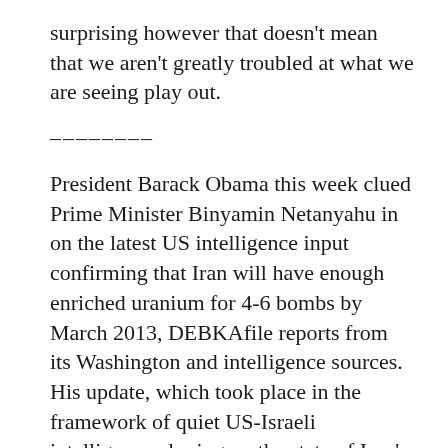surprising however that doesn't mean that we aren't greatly troubled at what we are seeing play out.
--------
President Barack Obama this week clued Prime Minister Binyamin Netanyahu in on the latest US intelligence input confirming that Iran will have enough enriched uranium for 4-6 bombs by March 2013, DEBKAfile reports from its Washington and intelligence sources.  His update, which took place in the framework of quiet US-Israeli intelligence-sharing on the state of Iran's nuclear program, was Obama's first acknowledgment that sanctions and